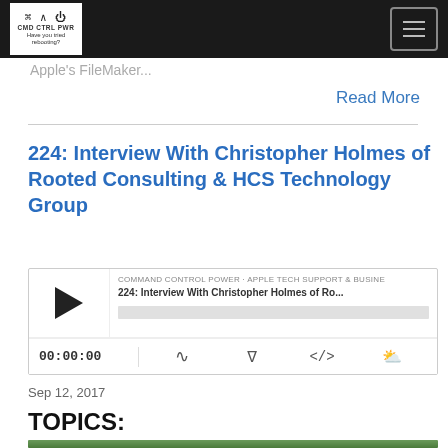CMD CTRL PWR — Have you tried rebooting?
Apple's FileMaker...
Read More
224: Interview With Christopher Holmes of Rooted Consulting & HCS Technology Group
[Figure (other): Podcast audio player showing episode 224: Interview With Christopher Holmes of Ro... with play button, timestamp 00:00:00, and controls for RSS, download, embed, and share]
Sep 12, 2017
TOPICS:
[Figure (photo): Photo of a tree with green foliage]